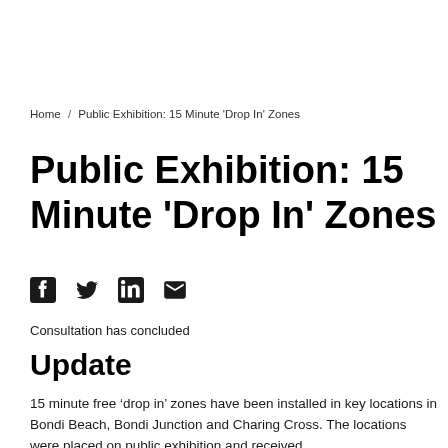Home / Public Exhibition: 15 Minute 'Drop In' Zones
Public Exhibition: 15 Minute 'Drop In' Zones
[Figure (other): Social media share icons: Facebook, Twitter, LinkedIn, Email]
Consultation has concluded
Update
15 minute free ‘drop in’ zones have been installed in key locations in Bondi Beach, Bondi Junction and Charing Cross. The locations were placed on public exhibition and received